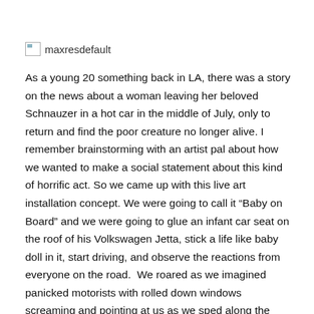[Figure (other): Broken image placeholder labeled 'maxresdefault']
As a young 20 something back in LA, there was a story on the news about a woman leaving her beloved Schnauzer in a hot car in the middle of July, only to return and find the poor creature no longer alive. I remember brainstorming with an artist pal about how we wanted to make a social statement about this kind of horrific act. So we came up with this live art installation concept. We were going to call it “Baby on Board” and we were going to glue an infant car seat on the roof of his Volkswagen Jetta, stick a life like baby doll in it, start driving, and observe the reactions from everyone on the road.  We roared as we imagined panicked motorists with rolled down windows screaming and pointing at us as we sped along the PCH.